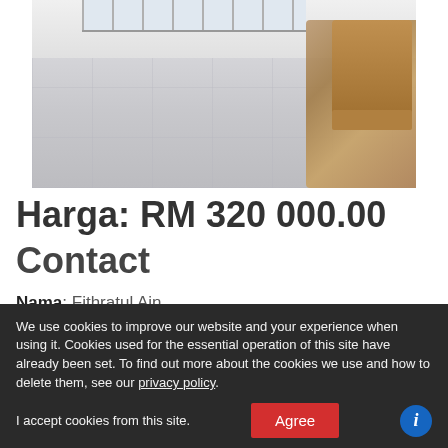[Figure (photo): Interior photo of a room with marble/tiled floor and a wooden chair visible on the right side. White walls with window bars at top.]
Harga: RM 320 000.00
Contact
Nama: Fithratul Ain
Poskod: 43200
We use cookies to improve our website and your experience when using it. Cookies used for the essential operation of this site have already been set. To find out more about the cookies we use and how to delete them, see our privacy policy.
I accept cookies from this site. Agree